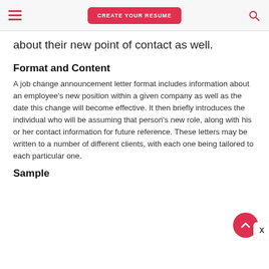CREATE YOUR RESUME
about their new point of contact as well.
Format and Content
A job change announcement letter format includes information about an employee's new position within a given company as well as the date this change will become effective. It then briefly introduces the individual who will be assuming that person's new role, along with his or her contact information for future reference. These letters may be written to a number of different clients, with each one being tailored to each particular one.
Sample